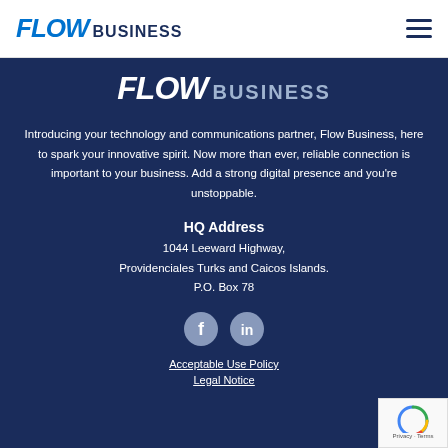FLOW BUSINESS
[Figure (logo): FLOW BUSINESS logo in white/light text on dark blue background]
Introducing your technology and communications partner, Flow Business, here to spark your innovative spirit. Now more than ever, reliable connection is important to your business. Add a strong digital presence and you're unstoppable.
HQ Address
1044 Leeward Highway, Providenciales Turks and Caicos Islands. P.O. Box 78
[Figure (illustration): Facebook and LinkedIn social media icons in grey circles]
Acceptable Use Policy
Legal Notice